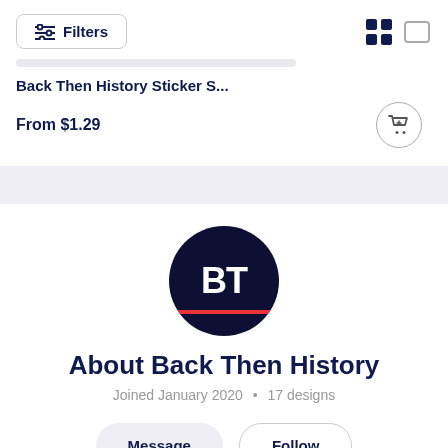Filters
Back Then History Sticker S...
From $1.29
[Figure (logo): BT logo circle with red underline for Back Then History]
About Back Then History
Joined January 2020 • 17 designs
Message
Follow